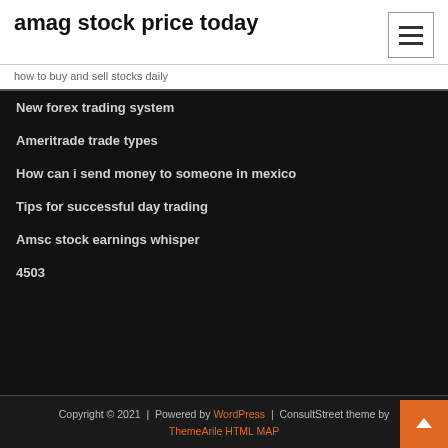amag stock price today
how to buy and sell stocks daily
New forex trading system
Ameritrade trade types
How can i send money to someone in mexico
Tips for successful day trading
Amsc stock earnings whisper
4503
Copyright © 2021 | Powered by WordPress | ConsultStreet theme by ThemeArile HTML MAP